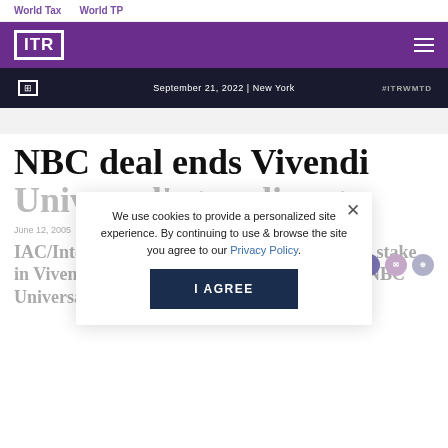World Tax    World TP
[Figure (logo): ITR logo in white on purple background with hamburger menu icon]
[Figure (photo): Dark banner image with text: September 21, 2022 | New York and #ITRWMTD tag]
NBC deal ends Vivendi Universal's tax dispute
June 12, 2005
IAC/Interactive, a media company, has sold its stake in Vivendi Universal Entertainment (VUE) to NBC Universal for
We use cookies to provide a personalized site experience. By continuing to use & browse the site you agree to our Privacy Policy.